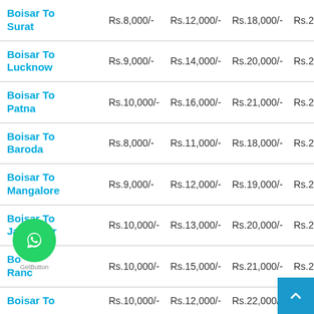| Route | Price 1 | Price 2 | Price 3 | Price 4 |
| --- | --- | --- | --- | --- |
| Boisar To Surat | Rs.8,000/- | Rs.12,000/- | Rs.18,000/- | Rs.27,000/- |
| Boisar To Lucknow | Rs.9,000/- | Rs.14,000/- | Rs.20,000/- | Rs.28,000/- |
| Boisar To Patna | Rs.10,000/- | Rs.16,000/- | Rs.21,000/- | Rs.29,000/- |
| Boisar To Baroda | Rs.8,000/- | Rs.11,000/- | Rs.18,000/- | Rs.25,000/- |
| Boisar To Mangalore | Rs.9,000/- | Rs.12,000/- | Rs.19,000/- | Rs.27,000/- |
| Boisar To Jamnagar | Rs.10,000/- | Rs.13,000/- | Rs.20,000/- | Rs.27,000/- |
| Boisar To Ranchi | Rs.10,000/- | Rs.15,000/- | Rs.21,000/- | Rs.29,000/- |
| Boisar To | Rs.10,000/- | Rs.12,000/- | Rs.22,000/- | Rs.30,000/- |